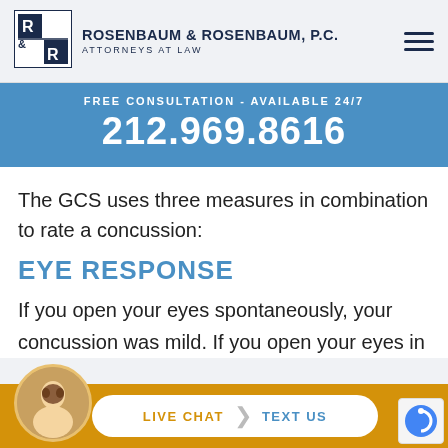[Figure (logo): Rosenbaum & Rosenbaum P.C. logo with R&R initials in a box]
ROSENBAUM & ROSENBAUM, P.C. ATTORNEYS AT LAW
[Figure (infographic): Free Consultation - Available 24/7 banner with phone number 212.969.8616]
The GCS uses three measures in combination to rate a concussion:
EYE RESPONSE
If you open your eyes spontaneously, your concussion was mild. If you open your eyes in response to
[Figure (photo): Live chat button with agent avatar at bottom of page]